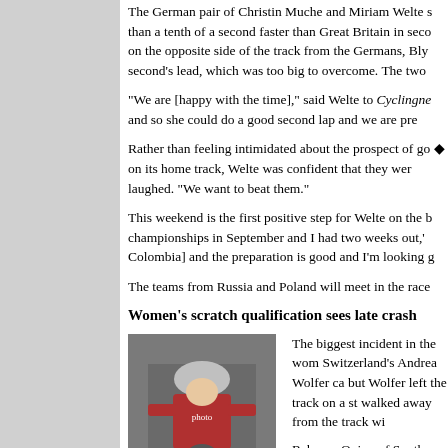The German pair of Christin Muche and Miriam Welte s... than a tenth of a second faster than Great Britain in seco... on the opposite side of the track from the Germans, Bly... second's lead, which was too big to overcome. The two...
"We are [happy with the time]," said Welte to Cyclingne... and so she could do a good second lap and we are pre...
Rather than feeling intimidated about the prospect of go... on its home track, Welte was confident that they wer... laughed. "We want to beat them."
This weekend is the first positive step for Welte on the b... championships in September and I had two weeks out,' Colombia] and the preparation is good and I'm looking g...
The teams from Russia and Poland will meet in the race...
Women's scratch qualification sees late crash
[Figure (photo): Katie Colclough cyclist racing photo]
Katie Colclough (100% ME)
Photo ©: Gerry McManus
The biggest incident in the wom... Switzerland's Andrea Wolfer ca... but Wolfer left the track on a st... walked away from the track wi...
Rebecca Quinn of South Bay W... managing to avoid Wolfer's cra... through safely and make it to t...
With 11 of the 16 riders going t... "get through and open the legs up a little bit. Just see h...
The plan for the final will be just as simple: "Just hopef...